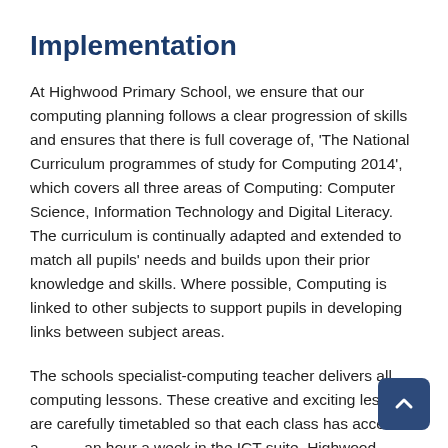Implementation
At Highwood Primary School, we ensure that our computing planning follows a clear progression of skills and ensures that there is full coverage of, ‘The National Curriculum programmes of study for Computing 2014’, which covers all three areas of Computing: Computer Science, Information Technology and Digital Literacy. The curriculum is continually adapted and extended to match all pupils’ needs and builds upon their prior knowledge and skills. Where possible, Computing is linked to other subjects to support pupils in developing links between subject areas.
The schools specialist-computing teacher delivers all computing lessons. These creative and exciting lessons are carefully timetabled so that each class has access to at least an hour a week in the ICT suite. Highwood Primary School has a computing suite and two sets of iPads to ensure that all